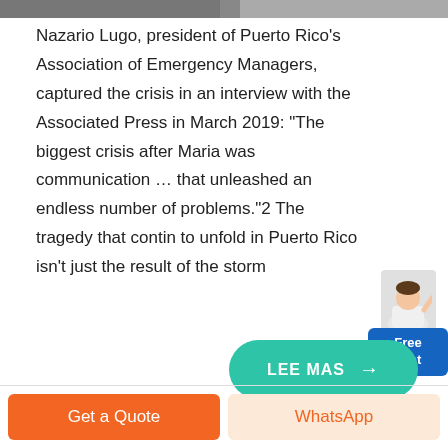[Figure (photo): Partial photo strip visible at the top of the page (cropped image)]
Nazario Lugo, president of Puerto Rico's Association of Emergency Managers, captured the crisis in an interview with the Associated Press in March 2019: "The biggest crisis after Maria was communication … that unleashed an endless number of problems."2 The tragedy that continues to unfold in Puerto Rico isn't just the result of the storm
[Figure (illustration): Free chat widget: illustration of a person with a blue button labeled 'Free chat']
[Figure (other): Green rounded button labeled 'LEE MAS' with a right arrow]
[Figure (other): Bottom bar with two buttons: orange 'Get a Quote' button and light orange 'WhatsApp' button]